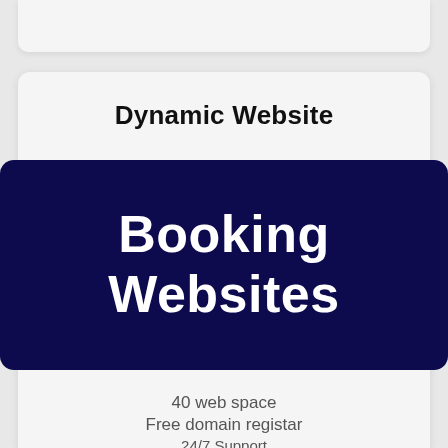Dynamic Website
Booking Websites
40 web space
Free domain registar
24/7 Support
Free marketing tool